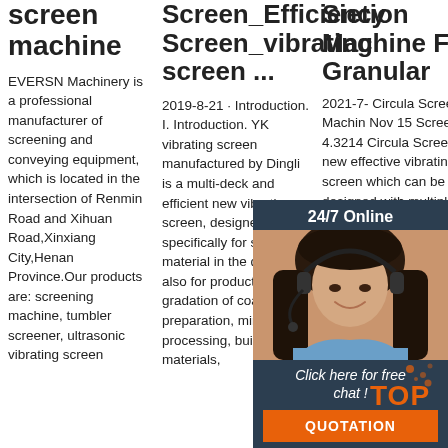screen machine
EVERSN Machinery is a professional manufacturer of screening and conveying equipment, which is located in the intersection of Renmin Road and Xihuan Road,Xinxiang City,Henan Province.Our products are: screening machine, tumbler screener, ultrasonic vibrating screen
Screen_Efficiency Screen_vibrating screen ...
2019-8-21 · Introduction. I. Introduction. YK vibrating screen manufactured by Dingli is a multi-deck and efficient new vibrating screen, designed specifically for screening material in the quarry, also for product gradation of coal preparation, mineral processing, building materials,
Sietion Machine For Granular
2021-7- Circular Screen Machine Nov 15 Screen 4.3214 Circular Screen of new effective vibrating screen which can be designed with multiple layers. It is composed of screen box, screen mesh
[Figure (photo): 24/7 Online chat widget with photo of a customer service representative (woman with headset), dark navy background, orange QUOTATION button, and text 'Click here for free chat!']
[Figure (logo): TOP badge/logo with orange dots and text]